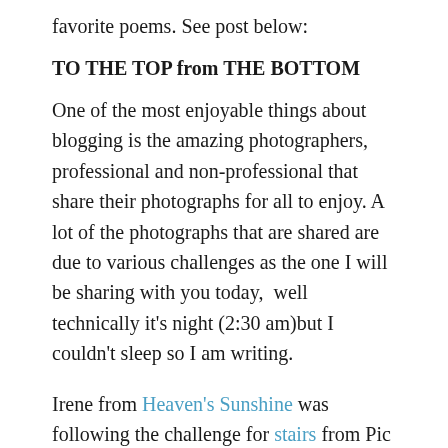favorite poems. See post below:
TO THE TOP from THE BOTTOM
One of the most enjoyable things about blogging is the amazing photographers, professional and non-professional that share their photographs for all to enjoy. A lot of the photographs that are shared are due to various challenges as the one I will be sharing with you today,  well technically it's night (2:30 am)but I couldn't sleep so I am writing.
Irene from Heaven's Sunshine was following the challenge for stairs from Pic